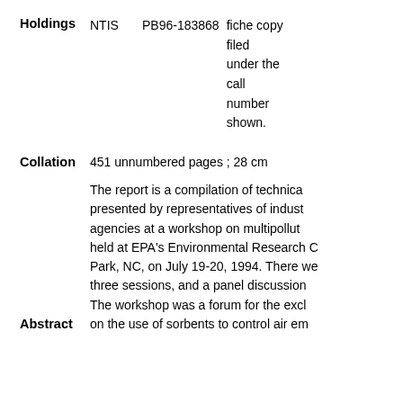Holdings   NTIS   PB96-183868   fiche copy filed under the call number shown.
Collation   451 unnumbered pages ; 28 cm
The report is a compilation of technical papers presented by representatives of industry and agencies at a workshop on multipollut... held at EPA's Environmental Research C... Park, NC, on July 19-20, 1994. There we... three sessions, and a panel discussion... The workshop was a forum for the excl...
Abstract   on the use of sorbents to control air em...